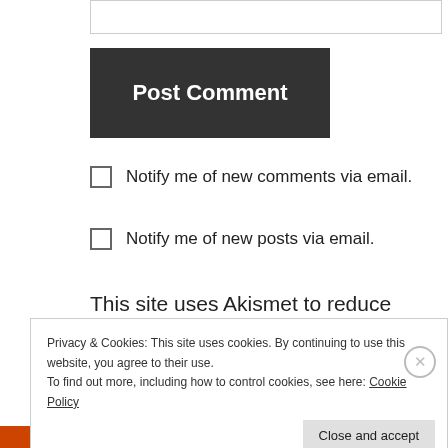[Figure (screenshot): Top portion of an input/textarea box]
Post Comment
Notify me of new comments via email.
Notify me of new posts via email.
This site uses Akismet to reduce spam. Learn how your comment data is processed
Privacy & Cookies: This site uses cookies. By continuing to use this website, you agree to their use.
To find out more, including how to control cookies, see here: Cookie Policy
Close and accept